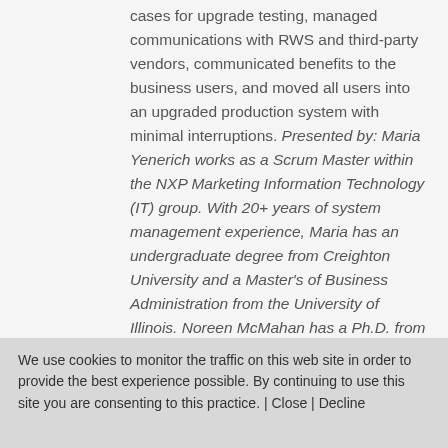cases for upgrade testing, managed communications with RWS and third-party vendors, communicated benefits to the business users, and moved all users into an upgraded production system with minimal interruptions. Presented by: Maria Yenerich works as a Scrum Master within the NXP Marketing Information Technology (IT) group. With 20+ years of system management experience, Maria has an undergraduate degree from Creighton University and a Master's of Business Administration from the University of Illinois. Noreen McMahan has a Ph.D. from the University of Texas in Austin. In 2008, Noreen joined a team deploying a new CCMS in and the system. For the system.
We use cookies to monitor the traffic on this web site in order to provide the best experience possible. By continuing to use this site you are consenting to this practice. | Close | Decline